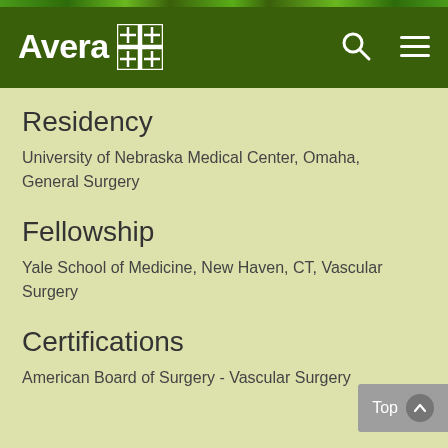Avera
Residency
University of Nebraska Medical Center, Omaha, General Surgery
Fellowship
Yale School of Medicine, New Haven, CT, Vascular Surgery
Certifications
American Board of Surgery - Vascular Surgery